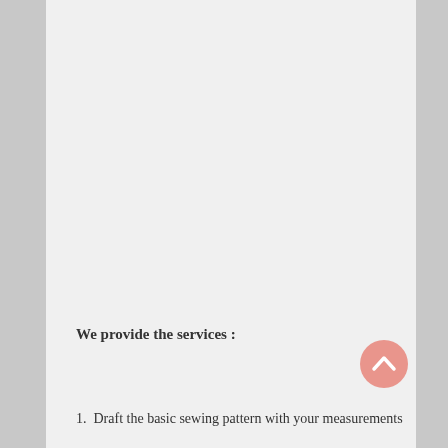We provide the services :
1.  Draft the basic sewing pattern with your measurements